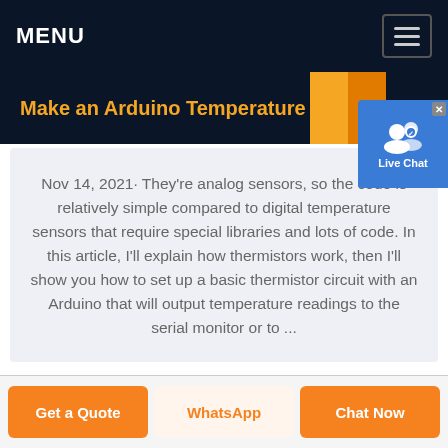MENU
Make an Arduino Temperature …
Nov 14, 2021· They're analog sensors, so the code is relatively simple compared to digital temperature sensors that require special libraries and lots of code. In this article, I'll explain how thermistors work, then I'll show you how to set up a basic thermistor circuit with an Arduino that will output temperature readings to the serial monitor or to ...
Get a Quote | WhatsApp | Chat Now